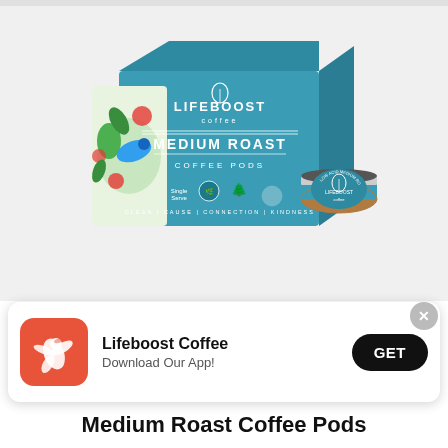[Figure (photo): Lifeboost Coffee Medium Roast Coffee Pods box (teal colored box with bird and floral design on side, LIFEBOOST COFFEE branding, MEDIUM ROAST COFFEE PODS label) and a single K-cup style coffee pod next to the box, on a light gray background.]
[Figure (other): App download banner: Lifeboost Coffee app icon (red/orange background with white hummingbird silhouette), text 'Lifeboost Coffee / Download Our App!', black 'GET' button. Close (X) button in top right corner.]
Medium Roast Coffee Pods